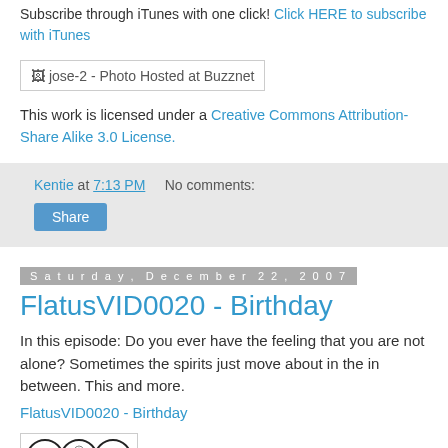Subscribe through iTunes with one click! Click HERE to subscribe with iTunes
[Figure (other): Broken image placeholder labeled 'jose-2 - Photo Hosted at Buzznet']
This work is licensed under a Creative Commons Attribution-Share Alike 3.0 License.
Kentie at 7:13 PM    No comments:
Share
Saturday, December 22, 2007
FlatusVID0020 - Birthday
In this episode: Do you ever have the feeling that you are not alone? Sometimes the spirits just move about in the in between. This and more.
FlatusVID0020 - Birthday
[Figure (logo): Creative Commons license icons: CC, BY, SA circles]